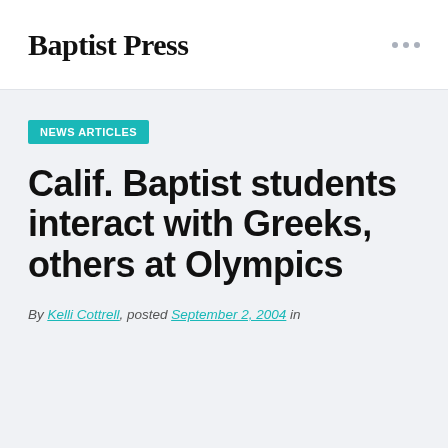Baptist Press
NEWS ARTICLES
Calif. Baptist students interact with Greeks, others at Olympics
By Kelli Cottrell, posted September 2, 2004 in